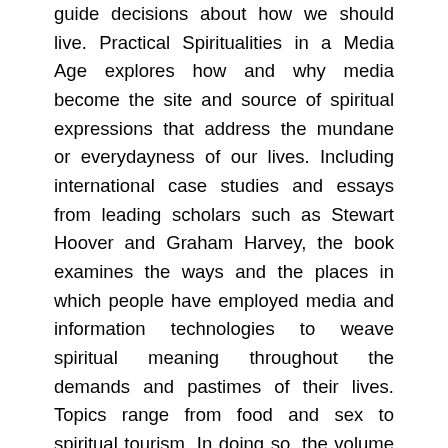guide decisions about how we should live. Practical Spiritualities in a Media Age explores how and why media become the site and source of spiritual expressions that address the mundane or everydayness of our lives. Including international case studies and essays from leading scholars such as Stewart Hoover and Graham Harvey, the book examines the ways and the places in which people have employed media and information technologies to weave spiritual meaning throughout the demands and pastimes of their lives. Topics range from food and sex to spiritual tourism. In doing so, the volume takes up a call from Paul Heelas' seminal work, Spiritualities of Life, to provide more examples, more richness and more depth to the variety of spiritual practices that exist in late modernity. Providing critical, scholarly explorations of the complexities and